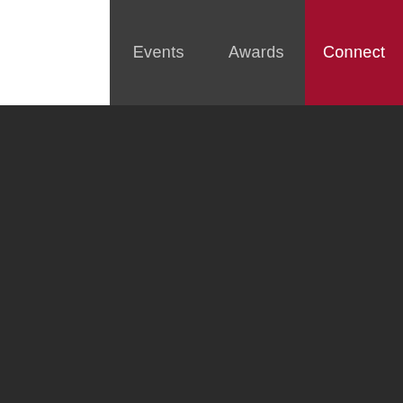Events | Awards | Connect
[Figure (screenshot): Dark background content area below the navigation bar]